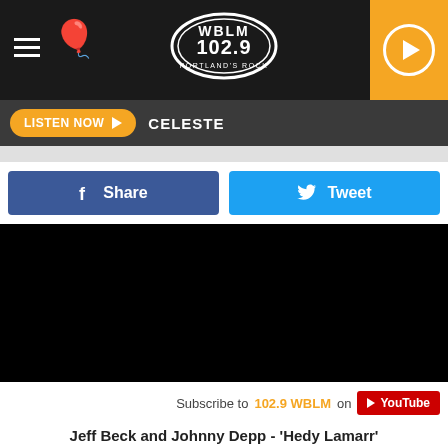[Figure (screenshot): WBLM 102.9 radio station website screenshot showing navigation bar with hamburger menu, balloon icon, WBLM 102.9 logo, and play button]
LISTEN NOW ▶  CELESTE
[Figure (screenshot): Facebook Share button and Twitter Tweet button side by side]
[Figure (screenshot): Black video embed area]
Subscribe to 102.9 WBLM on YouTube
Jeff Beck and Johnny Depp - 'Hedy Lamarr'